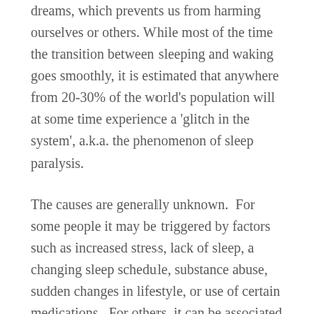dreams, which prevents us from harming ourselves or others. While most of the time the transition between sleeping and waking goes smoothly, it is estimated that anywhere from 20-30% of the world's population will at some time experience a 'glitch in the system', a.k.a. the phenomenon of sleep paralysis.
The causes are generally unknown.  For some people it may be triggered by factors such as increased stress, lack of sleep, a changing sleep schedule, substance abuse, sudden changes in lifestyle, or use of certain medications.  For others, it can be associated with narcolepsy, or night time leg cramps. For most people there is no determining explanation.
While scary, it is only temporary, and for the majority